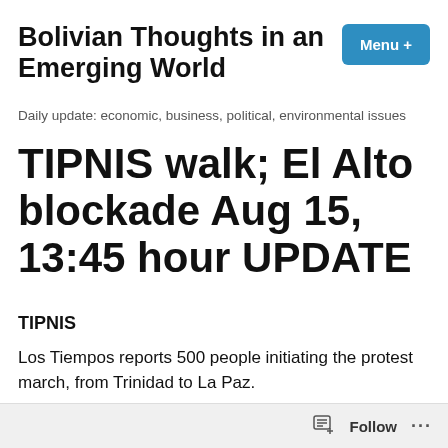Bolivian Thoughts in an Emerging World
Daily update: economic, business, political, environmental issues
TIPNIS walk; El Alto blockade Aug 15, 13:45 hour UPDATE
TIPNIS
Los Tiempos reports 500 people initiating the protest march, from Trinidad to La Paz.
The group is composed of people from: yukis, yuracarés,
Follow ...